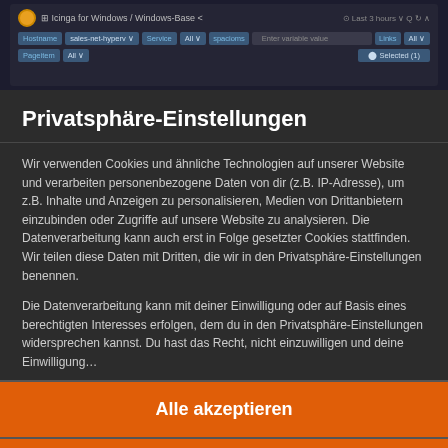[Figure (screenshot): Screenshot of Icinga for Windows / Windows-Base monitoring interface showing filter bar with hostname, sales-net-hyperv, Service, All, spacioms, Enter variable value, Links, All, Pageitem, All filters, and Selected (1) badge]
Privatsphäre-Einstellungen
Wir verwenden Cookies und ähnliche Technologien auf unserer Website und verarbeiten personenbezogene Daten von dir (z.B. IP-Adresse), um z.B. Inhalte und Anzeigen zu personalisieren, Medien von Drittanbietern einzubinden oder Zugriffe auf unsere Website zu analysieren. Die Datenverarbeitung kann auch erst in Folge gesetzter Cookies stattfinden. Wir teilen diese Daten mit Dritten, die wir in den Privatsphäre-Einstellungen benennen.
Die Datenverarbeitung kann mit deiner Einwilligung oder auf Basis eines berechtigten Interesses erfolgen, dem du in den Privatsphäre-Einstellungen widersprechen kannst. Du hast das Recht, nicht einzuwilligen und deine Einwilligung…
Alle akzeptieren
Weiter ohne Einwilligung
Privatsphäre-Einstellungen individuell festlegen
Datenschutzerklärung • Impressum